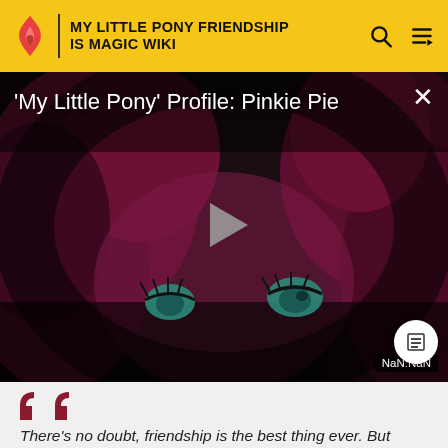MY LITTLE PONY FRIENDSHIP IS MAGIC WIKI
[Figure (screenshot): Video player showing a dark animated scene of Pinkie Pie (My Little Pony character) with a play button overlay. Title reads: 'My Little Pony' Profile: Pinkie Pie. Timer shows NaN:NaN.]
There’s no doubt, friendship is the best thing ever. But friendBOATS are great too!!